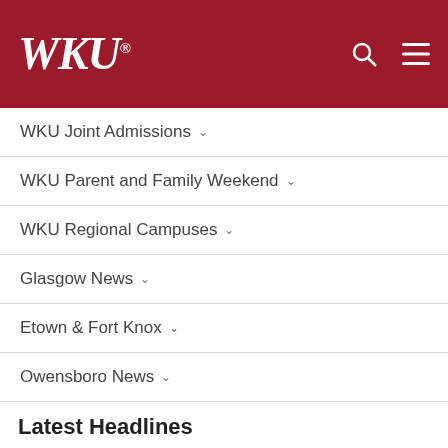WKU®
WKU Joint Admissions
WKU Parent and Family Weekend
WKU Regional Campuses
Glasgow News
Etown & Fort Knox
Owensboro News
Latest Headlines
Fall 2022 Parking and Transit
Aug 19th, 2022
Welcome Back!